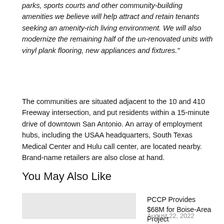parks, sports courts and other community-building amenities we believe will help attract and retain tenants seeking an amenity-rich living environment. We will also modernize the remaining half of the un-renovated units with vinyl plank flooring, new appliances and fixtures."
The communities are situated adjacent to the 10 and 410 Freeway intersection, and put residents within a 15-minute drive of downtown San Antonio. An array of employment hubs, including the USAA headquarters, South Texas Medical Center and Hulu call center, are located nearby. Brand-name retailers are also close at hand.
You May Also Like
PCCP Provides $68M for Boise-Area Project
August 22, 2022